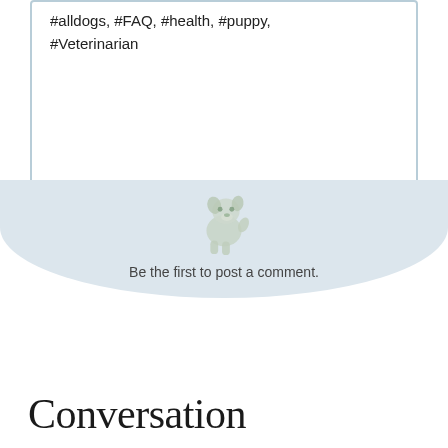#alldogs, #FAQ, #health, #puppy, #Veterinarian
[Figure (illustration): Small fluffy puppy illustration in muted sage/grey-green tones, centered in a light blue-grey rounded speech bubble area, above the text 'Be the first to post a comment.']
Be the first to post a comment.
Conversation